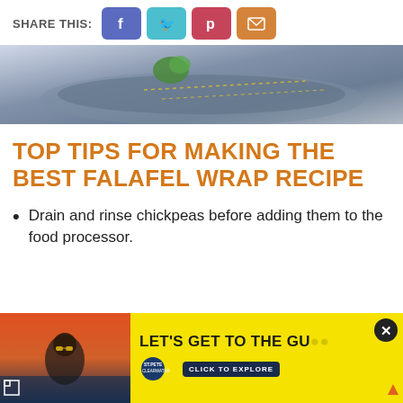SHARE THIS:
[Figure (other): Social share buttons: Facebook (blue-purple), Twitter (teal), Pinterest (red), Email (orange)]
[Figure (photo): Close-up photo of a falafel wrap with herbs, on a light background]
TOP TIPS FOR MAKING THE BEST FALAFEL WRAP RECIPE
Drain and rinse chickpeas before adding them to the food processor.
[Figure (photo): Advertisement banner: Yellow background with a woman in sunglasses. Text: LET'S GET TO THE GU... St. Pete Clearwater logo and CLICK TO EXPLORE button.]